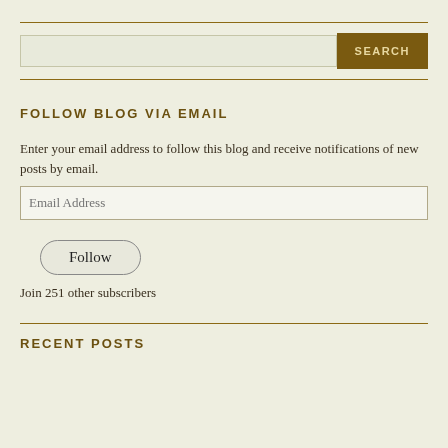[Figure (other): Search bar with text input field and SEARCH button]
FOLLOW BLOG VIA EMAIL
Enter your email address to follow this blog and receive notifications of new posts by email.
[Figure (other): Email address input field with placeholder text 'Email Address']
[Figure (other): Follow button with rounded border]
Join 251 other subscribers
RECENT POSTS